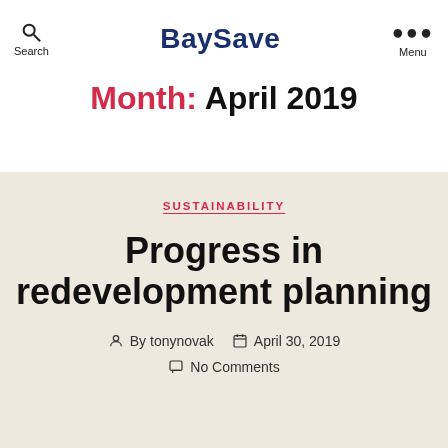Search | BaySave | Menu
Month: April 2019
SUSTAINABILITY
Progress in redevelopment planning
By tonynovak  April 30, 2019  No Comments